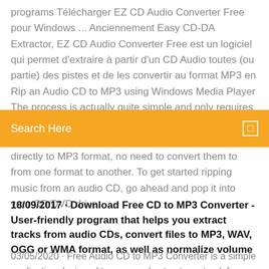programs Télécharger EZ CD Audio Converter Free pour Windows ... Anciennement Easy CD-DA Extractor, EZ CD Audio Converter Free est un logiciel qui permet d'extraire à partir d'un CD Audio toutes (ou partie) des pistes et de les convertir au format MP3 en Rip an Audio CD to MP3 using Windows Media Player The process is actually quite simple and only requires
Search Here
directly to MP3 format, no need to convert them to from one format to another. To get started ripping music from an audio CD, go ahead and pop it into your CD/DVD drive.
18/09/2017 · Download Free CD to MP3 Converter - User-friendly program that helps you extract tracks from audio CDs, convert files to MP3, WAV, OGG or WMA format, as well as normalize volume
03/05/2020 · Free Audio CD to MP3 Converter is a simple application designed to copy and extract any track from any